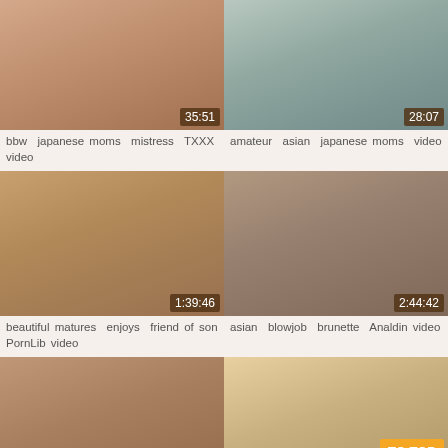[Figure (photo): Video thumbnail with duration 35:51]
bbw japanese moms mistress TXXX video
[Figure (photo): Video thumbnail with duration 28:07]
amateur asian japanese moms video
[Figure (photo): Video thumbnail with duration 1:39:46]
beautiful matures enjoys friend of son PornLib video
[Figure (photo): Video thumbnail with duration 2:44:42]
asian blowjob brunette Analdin video
[Figure (photo): Video thumbnail with duration 1:19:02]
group japanese moms TXXX video
[Figure (photo): Video thumbnail with TO TOP badge and duration 1:58:41]
beautiful matures daddy japanese moms Upornia video